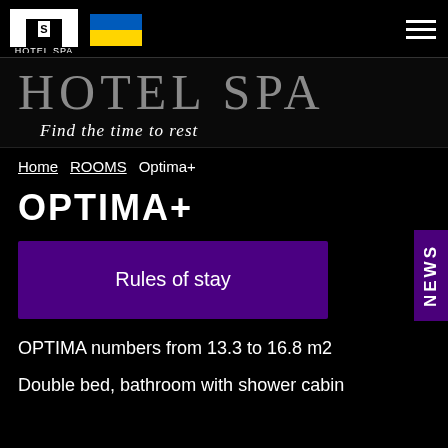HOTEL SPA
HOTEL SPA
Find the time to rest
Home ROOMS Optima+
OPTIMA+
Rules of stay
OPTIMA numbers from 13.3 to 16.8 m2
Double bed, bathroom with shower cabin